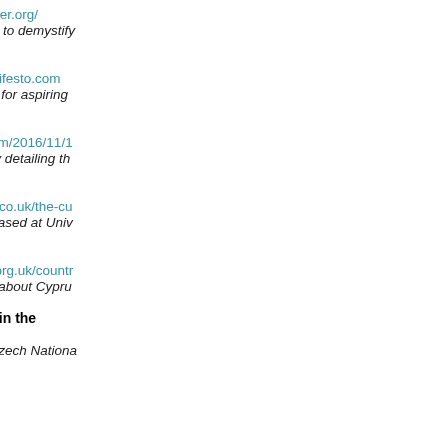copyright
https://www.copyrightuser.org/
CopyrightUser.org aims to demystify
costume
http://thecostumersmanifesto.com
An intelligent manifesto for aspiring
coverage
https://prestonkanak.com/2016/11/1
A filmmaker's blog entry detailing th
cult film
http://www.cine-excess.co.uk/the-cu
The Cult Film Archive based at Univ
Cyprus, film in
http://www.colonialfilm.org.uk/countr
Information about films about Cypru
Czech Republic, film in the
https://nfa.cz/en/
The web portal of the Czech Nationa
D  Top
Denmark, film in